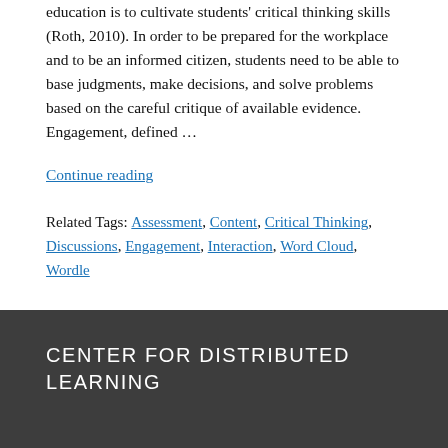education is to cultivate students' critical thinking skills (Roth, 2010). In order to be prepared for the workplace and to be an informed citizen, students need to be able to base judgments, make decisions, and solve problems based on the careful critique of available evidence. Engagement, defined …
Continue reading
Related Tags: Assessment, Content, Critical Thinking, Discussions, Engagement, Interaction, Word Cloud, Wordle
CENTER FOR DISTRIBUTED LEARNING